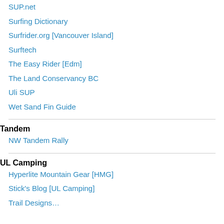SUP.net
Surfing Dictionary
Surfrider.org [Vancouver Island]
Surftech
The Easy Rider [Edm]
The Land Conservancy BC
Uli SUP
Wet Sand Fin Guide
Tandem
NW Tandem Rally
UL Camping
Hyperlite Mountain Gear [HMG]
Stick's Blog [UL Camping]
Trail Designs…